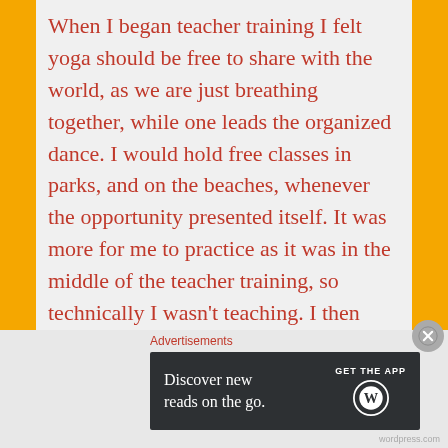When I began teacher training I felt yoga should be free to share with the world, as we are just breathing together, while one leads the organized dance. I would hold free classes in parks, and on the beaches, whenever the opportunity presented itself. It was more for me to practice as it was in the middle of the teacher training, so technically I wasn't teaching. I then learned the value in preparation, especially when it comes to creating a space allowing students to experience my energy in a way channeled specifically for their well being. Nothing...
Advertisements
[Figure (other): Advertisement banner: 'Discover new reads on the go. GET THE APP' with WordPress logo on dark background]